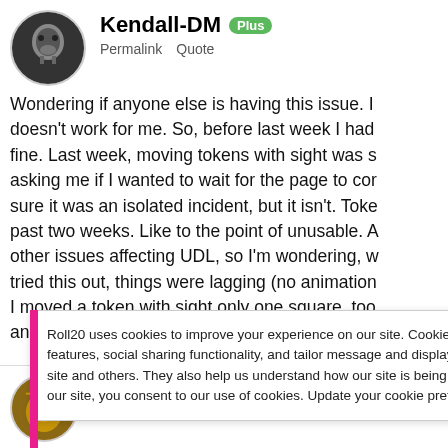[Figure (photo): Circular avatar with a black and white image of what appears to be a skull or animal skull on dark background]
Kendall-DM Plus
Permalink  Quote
Wondering if anyone else is having this issue. It doesn't work for me. So, before last week I had ... fine. Last week, moving tokens with sight was s... asking me if I wanted to wait for the page to co... sure it was an isolated incident, but it isn't. Toke... past two weeks. Like to the point of unusable. A... other issues affecting UDL, so I'm wondering, w... tried this out, things were lagging (no animation... I moved a token with sight only one square, too... and update. While that is happening, everything...
Roll20 uses cookies to improve your experience on our site. Cookies enable you to enjoy certain features, social sharing functionality, and tailor message and display ads to your interests on our site and others. They also help us understand how our site is being used. By continuing to use our site, you consent to our use of cookies. Update your cookie preferences here.
[Figure (photo): Circular avatar with a photo of a tiger or lion face]
Bill (Do Not Kill) Pro API Scripter